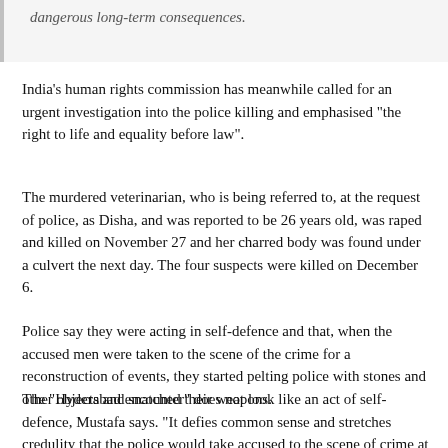dangerous long-term consequences.
India's human rights commission has meanwhile called for an urgent investigation into the police killing and emphasised "the right to life and equality before law".
The murdered veterinarian, who is being referred to, at the request of police, as Disha, and was reported to be 26 years old, was raped and killed on November 27 and her charred body was found under a culvert the next day. The four suspects were killed on December 6.
Police say they were acting in self-defence and that, when the accused men were taken to the scene of the crime for a reconstruction of events, they started pelting police with stones and other objects and snatched their weapons.
The “Hyderabad encounter” does not look like an act of self-defence, Mustafa says. “It defies common sense and stretches credulity that the police would take accused to the scene of crime at 5.30 a.m. The sun rises a little after 6 a.m. ”